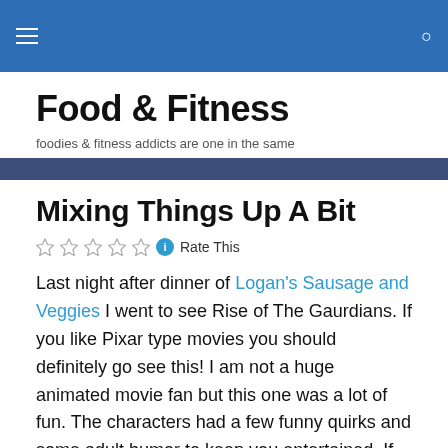Food & Fitness — foodies & fitness addicts are one in the same
Mixing Things Up A Bit
Rate This
Last night after dinner of Logan's Sausage and Veggies I went to see Rise of The Gaurdians. If you like Pixar type movies you should definitely go see this! I am not a huge animated movie fan but this one was a lot of fun. The characters had a few funny quirks and some adult humor to keep you entertained. If you are looking for any